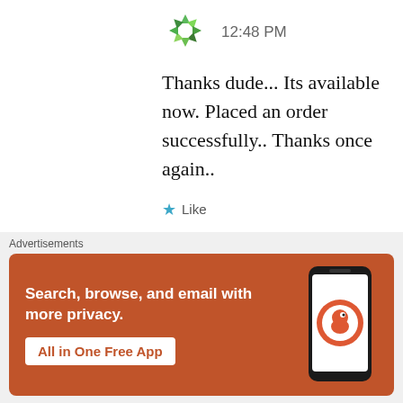[Figure (illustration): Green pinwheel/star avatar icon with timestamp 12:48 PM]
Thanks dude... Its available now. Placed an order successfully.. Thanks once again..
★ Like
[Figure (illustration): Blue and dark blue checkered/geometric avatar icon with username Mk]
[Figure (illustration): Circle X (close) button]
Advertisements
[Figure (screenshot): DuckDuckGo advertisement banner with text: Search, browse, and email with more privacy. All in One Free App. Shows a phone with DuckDuckGo app icon.]